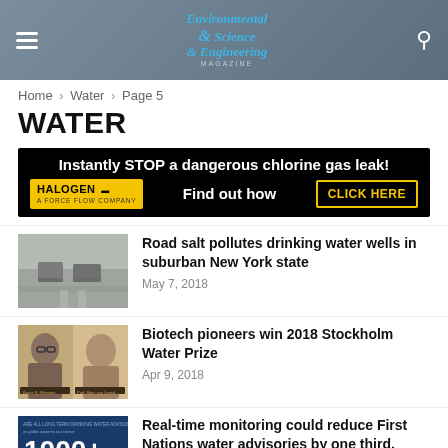Environmental Science & Engineering Magazine
Home › Water › Page 5
WATER
[Figure (infographic): Advertisement banner for Halogen, a Force Flow Company. Black background with text: 'Instantly STOP a dangerous chlorine gas leak! Find out how CLICK HERE']
[Figure (photo): Road salt spreading trucks on a highway in wintry conditions]
Road salt pollutes drinking water wells in suburban New York state
May 7, 2018
[Figure (photo): Two men posing for a photo, biotech pioneers who won the 2018 Stockholm Water Prize]
Biotech pioneers win 2018 Stockholm Water Prize
Apr 9, 2018
[Figure (infographic): Infographic about First Nations drinking water advisories, showing '1000+' figure on dark blue background]
Real-time monitoring could reduce First Nations water advisories by one third, study